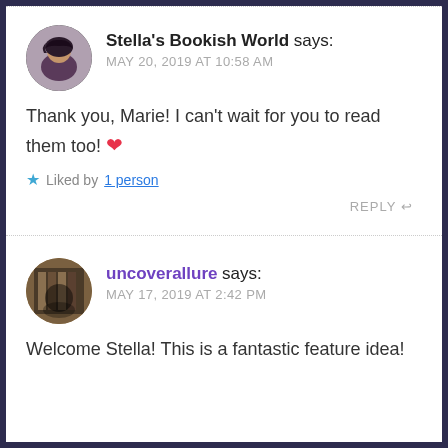Stella's Bookish World says: MAY 20, 2019 AT 10:58 AM
Thank you, Marie! I can't wait for you to read them too! ❤
Liked by 1 person
REPLY
uncoverallure says: MAY 17, 2019 AT 2:42 PM
Welcome Stella! This is a fantastic feature idea!